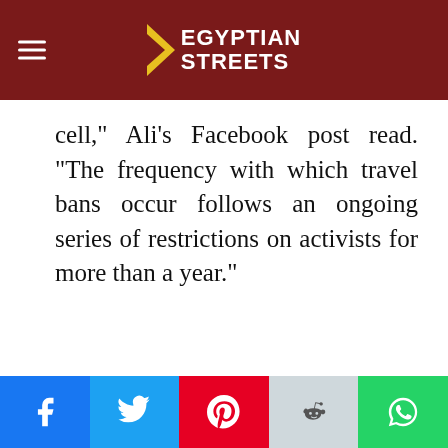Egyptian Streets
cell," Ali's Facebook post read. “The frequency with which travel bans occur follows an ongoing series of restrictions on activists for more than a year.”